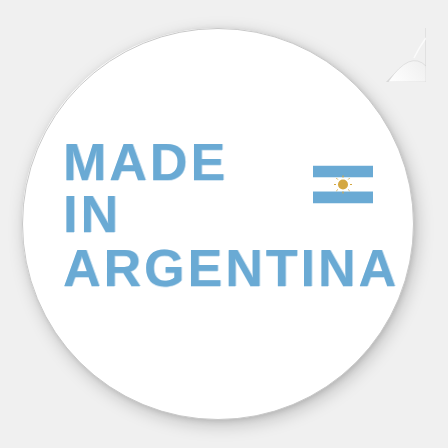[Figure (illustration): A circular sticker with a peeling corner at the top-right, showing the text 'MADE IN ARGENTINA' in bold distressed blue letters (sky blue, matching Argentina flag colors), with a small Argentine flag icon next to 'MADE IN'. The sticker has a white background with a light gray border and drop shadow on a light gray page background.]